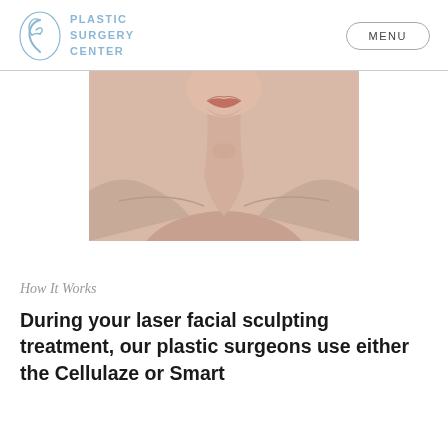PLASTIC SURGERY CENTER  MENU
[Figure (photo): Close-up beauty photo of a person's face and neck/décolletage from lips down, skin-tone background, studio lighting]
How It Works
During your laser facial sculpting treatment, our plastic surgeons use either the Cellulaze or Smart